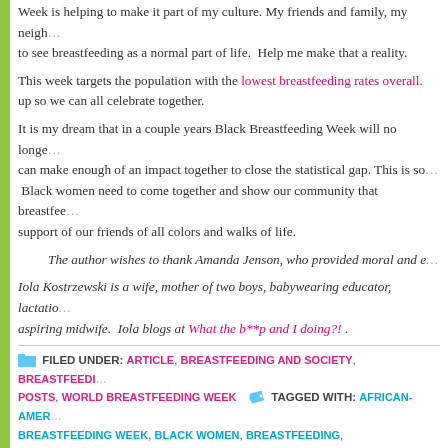Week is helping to make it part of my culture. My friends and family, my neighbors — I want them all to see breastfeeding as a normal part of life. Help me make that a reality.
This week targets the population with the lowest breastfeeding rates overall. [link] up so we can all celebrate together.
It is my dream that in a couple years Black Breastfeeding Week will no longer be necessary… can make enough of an impact together to close the statistical gap. This is so… Black women need to come together and show our community that breastfee… support of our friends of all colors and walks of life.
The author wishes to thank Amanda Jenson, who provided moral and e…
Iola Kostrzewski is a wife, mother of two boys, babywearing educator, lactation… aspiring midwife. Iola blogs at What the b**p and I doing?! .
FILED UNDER: ARTICLE, BREASTFEEDING AND SOCIETY, BREASTFEEDIN… POSTS, WORLD BREASTFEEDING WEEK TAGGED WITH: AFRICAN-AMER… BREASTFEEDING WEEK, BLACK WOMEN, BREASTFEEDING, BREASTFEEDIN… WE NEED BLACK BREASTFEEDING WEEK, WOMEN OF COLOR AND BREASTP…
Black Breastfeeding Week: Interview with Cofounder Ayoka
AUGUST 27, 2013 BY THELEAKYR@@B 1 COMMENT